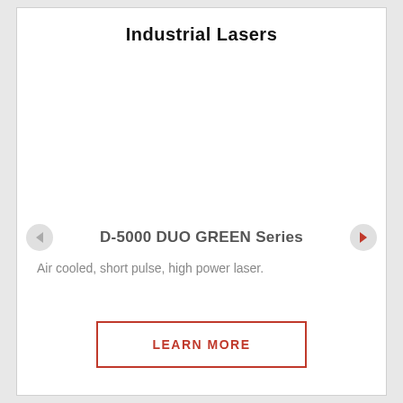Industrial Lasers
[Figure (photo): Product image area for D-5000 DUO GREEN Series industrial laser (carousel slideshow area, blank/white in this view)]
D-5000 DUO GREEN Series
Air cooled, short pulse, high power laser.
LEARN MORE